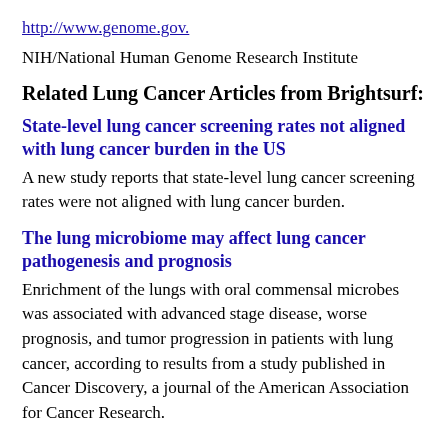http://www.genome.gov.
NIH/National Human Genome Research Institute
Related Lung Cancer Articles from Brightsurf:
State-level lung cancer screening rates not aligned with lung cancer burden in the US
A new study reports that state-level lung cancer screening rates were not aligned with lung cancer burden.
The lung microbiome may affect lung cancer pathogenesis and prognosis
Enrichment of the lungs with oral commensal microbes was associated with advanced stage disease, worse prognosis, and tumor progression in patients with lung cancer, according to results from a study published in Cancer Discovery, a journal of the American Association for Cancer Research.